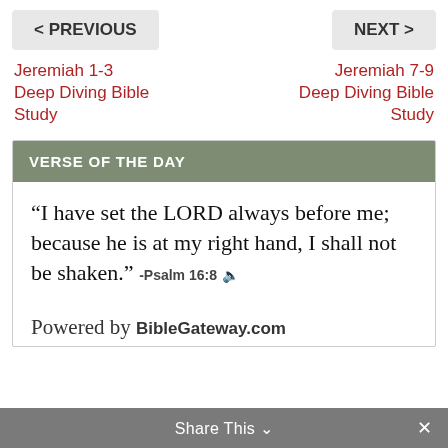< PREVIOUS    NEXT >
Jeremiah 1-3 Deep Diving Bible Study
Jeremiah 7-9 Deep Diving Bible Study
VERSE OF THE DAY
“I have set the LORD always before me; because he is at my right hand, I shall not be shaken.” -Psalm 16:8
Powered by BibleGateway.com
Share This ⌄  ×